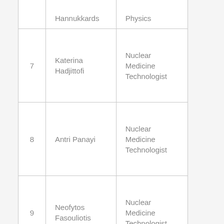| # | Name | Role |
| --- | --- | --- |
|  | Hannukkards | Physics |
| 7 | Katerina Hadjittofi | Nuclear Medicine Technologist |
| 8 | Antri Panayi | Nuclear Medicine Technologist |
| 9 | Neofytos Fasouliotis | Nuclear Medicine Technologist |
| 10 | Andreas Mormoris | Nuclear Medicine Technologist |